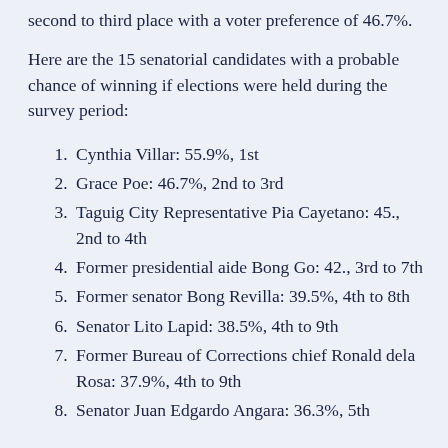second to third place with a voter preference of 46.7%.
Here are the 15 senatorial candidates with a probable chance of winning if elections were held during the survey period:
Cynthia Villar: 55.9%, 1st
Grace Poe: 46.7%, 2nd to 3rd
Taguig City Representative Pia Cayetano: 45., 2nd to 4th
Former presidential aide Bong Go: 42., 3rd to 7th
Former senator Bong Revilla: 39.5%, 4th to 8th
Senator Lito Lapid: 38.5%, 4th to 9th
Former Bureau of Corrections chief Ronald dela Rosa: 37.9%, 4th to 9th
Senator Juan Edgardo Angara: 36.3%, 5th